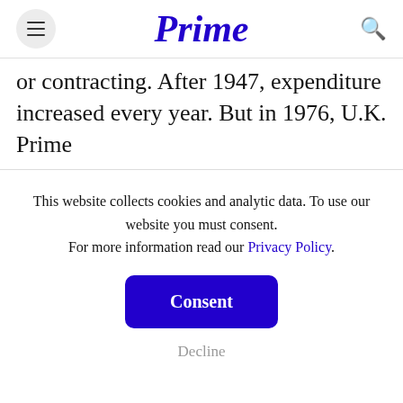Prime
or contracting. After 1947, expenditure increased every year. But in 1976, U.K. Prime
This website collects cookies and analytic data. To use our website you must consent. For more information read our Privacy Policy.
Consent
Decline